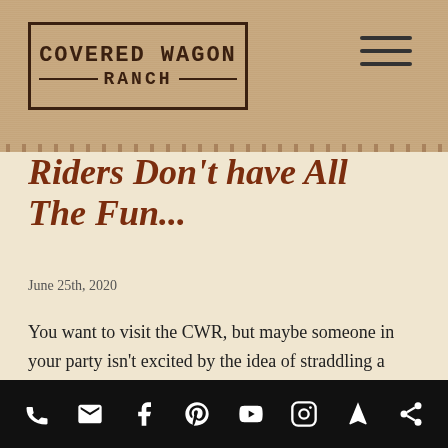[Figure (logo): Covered Wagon Ranch logo in a rectangular border with serif/slab font]
Riders Don't have All The Fun...
June 25th, 2020
You want to visit the CWR, but maybe someone in your party isn't excited by the idea of straddling a thousand-pound animal and riding into bear-infested wilderness. Fear not! Other [...]
[Figure (infographic): Black bottom bar with social/contact icons: phone, email, Facebook, Pinterest, YouTube, Instagram, location arrow, share]